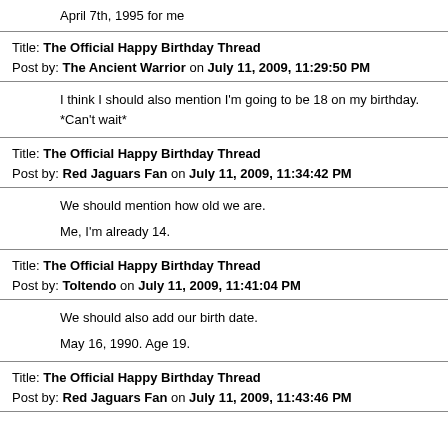April 7th, 1995 for me
Title: The Official Happy Birthday Thread
Post by: The Ancient Warrior on July 11, 2009, 11:29:50 PM
I think I should also mention I'm going to be 18 on my birthday. *Can't wait*
Title: The Official Happy Birthday Thread
Post by: Red Jaguars Fan on July 11, 2009, 11:34:42 PM
We should mention how old we are.

Me, I'm already 14.
Title: The Official Happy Birthday Thread
Post by: Toltendo on July 11, 2009, 11:41:04 PM
We should also add our birth date.

May 16, 1990. Age 19.
Title: The Official Happy Birthday Thread
Post by: Red Jaguars Fan on July 11, 2009, 11:43:46 PM